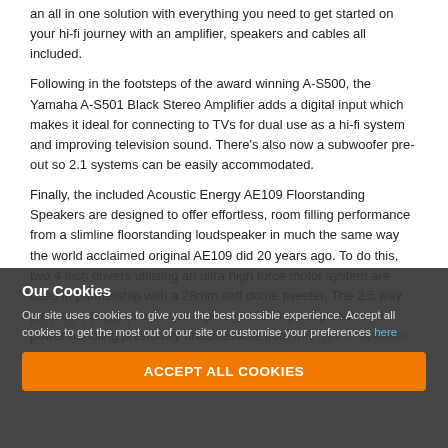an all in one solution with everything you need to get started on your hi-fi journey with an amplifier, speakers and cables all included.
Following in the footsteps of the award winning A-S500, the Yamaha A-S501 Black Stereo Amplifier adds a digital input which makes it ideal for connecting to TVs for dual use as a hi-fi system and improving television sound. There's also now a subwoofer pre-out so 2.1 systems can be easily accommodated.
Finally, the included Acoustic Energy AE109 Floorstanding Speakers are designed to offer effortless, room filling performance from a slimline floorstanding loudspeaker in much the same way the world acclaimed original AE109 did 20 years ago. To do this, two 4 inch drivers utilising an ultra high force motor system are used in partnership with a 28mm soft dome tweeter. The 2.5 way crossover features a unique topology allowing integration and power handling previously unachievable from this type of speaker.
Part No: 1226401
Our Cookies
Our site uses cookies to give you the best possible experience. Accept all cookies to get the most out of our site or customise your preferences here
ACCEPT ALL COOKIES